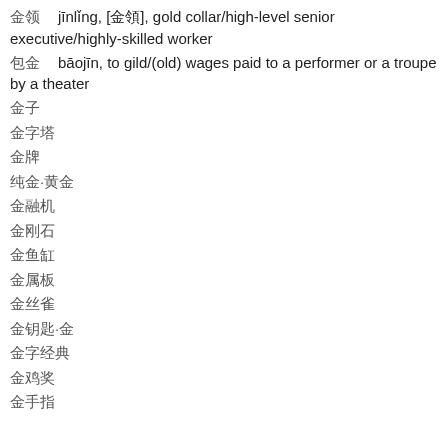金领 jīnlǐng, [金領], gold collar/high-level senior executive/highly-skilled worker
包金 bāojīn, to gild/(old) wages paid to a performer or a troupe by a theater
金子
金字塔
金牌
纯金·黄金
金融机
金刚石
金鱼缸
金属板
金丝雀
金钥匙·金
金字经典
金鸡奖
金手指